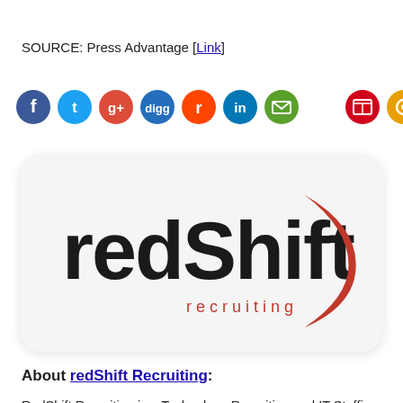SOURCE: Press Advantage [Link]
[Figure (infographic): Row of social media icon buttons: Facebook (blue), Twitter (light blue), Google+ (red), Digg (dark blue), Reddit (red), LinkedIn (dark blue), Email (green), and two right-aligned icons: save (red) and RSS (orange)]
[Figure (logo): redShift recruiting logo: lowercase black text 'redShift' with red crescent swoosh on the right, and 'recruiting' in red spaced letters below]
About redShift Recruiting:
RedShift Recruiting is a Technology Recruiting and IT Staffing agency. Our team has 80 years' combined recruiting and 40+ years of technology experience. For more information, please